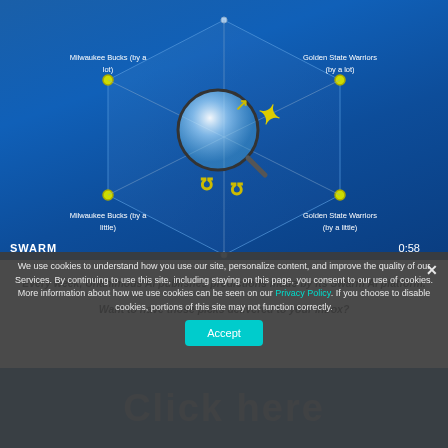[Figure (screenshot): Screenshot of a Swarm AI prediction interface showing a hexagonal voting diagram for a game prediction between Milwaukee Bucks and Golden State Warriors. Four corner labels: 'Milwaukee Bucks (by a lot)', 'Golden State Warriors (by a lot)', 'Milwaukee Bucks (by a little)', 'Golden State Warriors (by a little)'. A magnifying glass icon with yellow arrow is centered. Bottom left shows 'SWARM' label, bottom right shows timer '0:58'.]
Every week, Unanimous AI publishes predictions made by its Swarm AI platform. Want to have those picks delivered to your inbox?
We use cookies to understand how you use our site, personalize content, and improve the quality of our Services. By continuing to use this site, including staying on this page, you consent to our use of cookies. More information about how we use cookies can be seen on our Privacy Policy. If you choose to disable cookies, portions of this site may not function correctly.